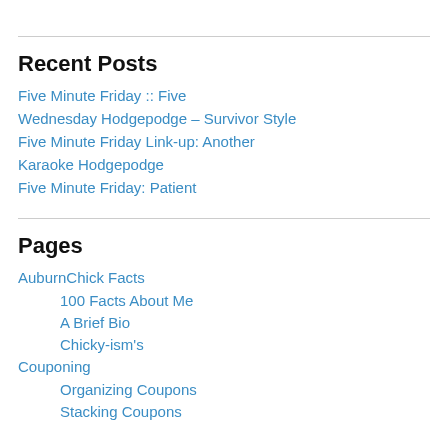Recent Posts
Five Minute Friday :: Five
Wednesday Hodgepodge – Survivor Style
Five Minute Friday Link-up: Another
Karaoke Hodgepodge
Five Minute Friday: Patient
Pages
AuburnChick Facts
100 Facts About Me
A Brief Bio
Chicky-ism's
Couponing
Organizing Coupons
Stacking Coupons